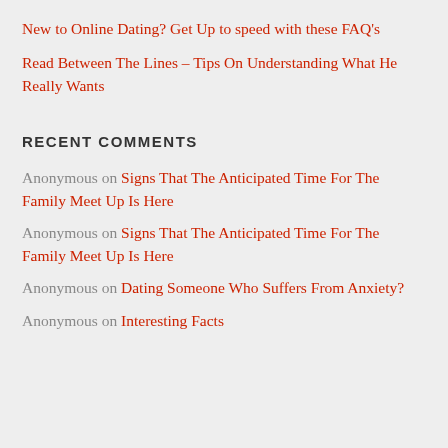New to Online Dating? Get Up to speed with these FAQ's
Read Between The Lines – Tips On Understanding What He Really Wants
RECENT COMMENTS
Anonymous on Signs That The Anticipated Time For The Family Meet Up Is Here
Anonymous on Signs That The Anticipated Time For The Family Meet Up Is Here
Anonymous on Dating Someone Who Suffers From Anxiety?
Anonymous on Interesting Facts